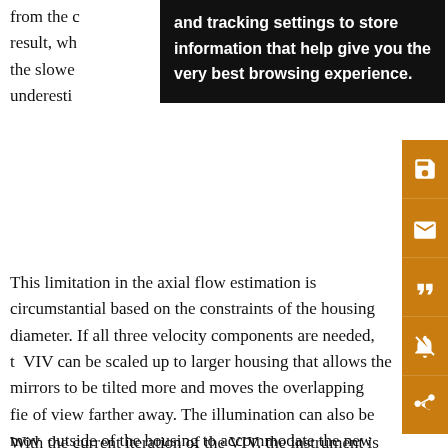from the c... as a result, wh... ume, the slowe... n underesti...
[Figure (screenshot): Black tooltip/cookie banner overlay with white bold text: 'and tracking settings to store information that help give you the very best browsing experience.']
This limitation in the axial flow estimation is circumstantial based on the constraints of the housing diameter. If all three velocity components are needed, the VIV can be scaled up to larger housing that allows the mirrors to be tilted more and moves the overlapping fields of view farther away. The illumination can also be moved outside of the housing to accommodate the new configuration. This adjustment would allow more accurate 3D studies with the trade-off of the compact size of the instrument.
With the current iteration of the VIV, the instrument is